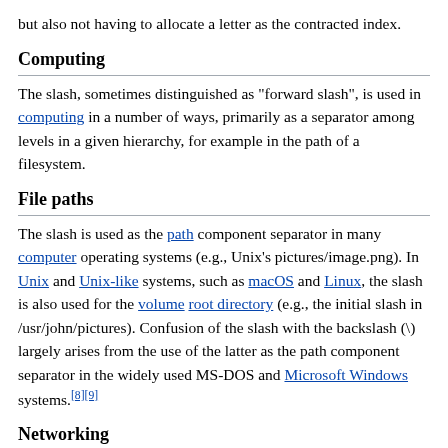but also not having to allocate a letter as the contracted index.
Computing
The slash, sometimes distinguished as "forward slash", is used in computing in a number of ways, primarily as a separator among levels in a given hierarchy, for example in the path of a filesystem.
File paths
The slash is used as the path component separator in many computer operating systems (e.g., Unix's pictures/image.png). In Unix and Unix-like systems, such as macOS and Linux, the slash is also used for the volume root directory (e.g., the initial slash in /usr/john/pictures). Confusion of the slash with the backslash (\) largely arises from the use of the latter as the path component separator in the widely used MS-DOS and Microsoft Windows systems.[8][9]
Networking
The slash is used in a similar fashion in internet URLs (e.g., http://en.wikipedia.org/wiki/Slash_(punctuation)).[10] Often this